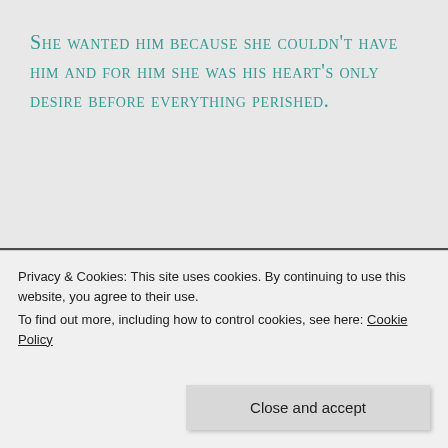She wanted him because she couldn't have him and for him she was his heart's only desire before everything perished.
To read more such tiny tales on this week's prompt, scroll down to the comment section and find the links to amazing 20-word stories written
Privacy & Cookies: This site uses cookies. By continuing to use this website, you agree to their use.
To find out more, including how to control cookies, see here: Cookie Policy